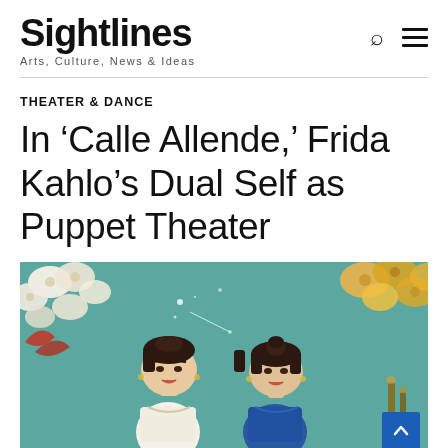Sightlines — Arts, Culture, News & Ideas
THEATER & DANCE
In ‘Calle Allende,’ Frida Kahlo’s Dual Self as Puppet Theater
[Figure (photo): Two Frida Kahlo puppet figures side by side against a teal background decorated with flowers and foliage. The puppets have dark hair and red lips, one wearing white and one wearing blue.]